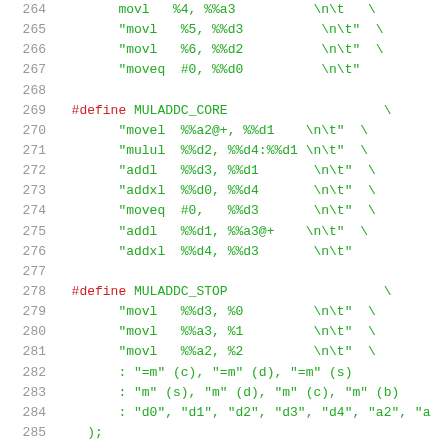Code listing lines 264-285 showing assembly inline macros MULADDC_CORE and MULADDC_STOP
264     movl   %4, %%a3                 \n\t   \
265     "movl   %5, %%d3                 \n\t"  \
266     "movl   %6, %%d2                 \n\t"  \
267     "moveq  #0, %%d0                 \n\t"
268
269 #define MULADDC_CORE                          \
270     "movel  %%a2@+, %%d1     \n\t"  \
271     "mulul  %%d2, %%d4:%%d1  \n\t"  \
272     "addl   %%d3, %%d1              \n\t"  \
273     "addxl  %%d0, %%d4              \n\t"  \
274     "moveq  #0,   %%d3              \n\t"  \
275     "addl   %%d1, %%a3@+           \n\t"  \
276     "addxl  %%d4, %%d3              \n\t"
277
278 #define MULADDC_STOP                          \
279     "movl   %%d3, %0               \n\t"  \
280     "movl   %%a3, %1               \n\t"  \
281     "movl   %%a2, %2               \n\t"  \
282     : "=m" (c), "=m" (d), "=m" (s)
283     : "m" (s), "m" (d), "m" (c), "m" (b)
284     : "d0", "d1", "d2", "d3", "d4", "a2", "a
285     );